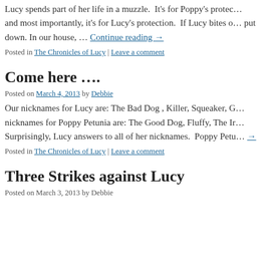Lucy spends part of her life in a muzzle.  It's for Poppy's protection and most importantly, it's for Lucy's protection.  If Lucy bites o… put down. In our house, …  Continue reading →
Posted in The Chronicles of Lucy | Leave a comment
Come here ….
Posted on March 4, 2013 by Debbie
Our nicknames for Lucy are: The Bad Dog , Killer, Squeaker, G… nicknames for Poppy Petunia are: The Good Dog, Fluffy, The Ir… Surprisingly, Lucy answers to all of her nicknames.  Poppy Petu… →
Posted in The Chronicles of Lucy | Leave a comment
Three Strikes against Lucy
Posted on March 3, 2013 by Debbie